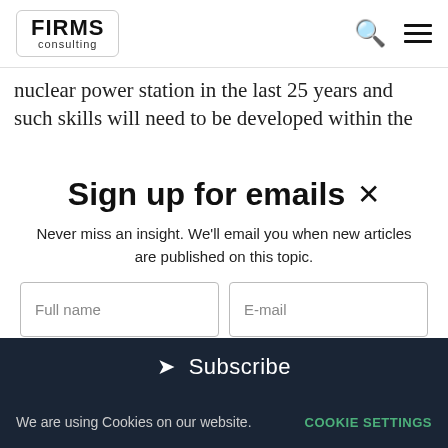FIRMS consulting
nuclear power station in the last 25 years and such skills will need to be developed within the
Sign up for emails
Never miss an insight. We'll email you when new articles are published on this topic.
Full name | E-mail
Subscribe
We are using Cookies on our website. COOKIE SETTINGS